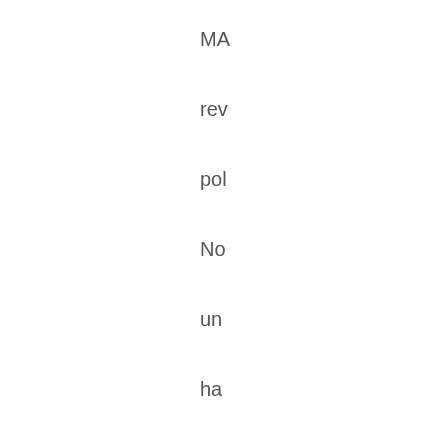MA
rev
pol
No
un
ha
of
the
ha
die
I'm
su
So
we
wil
se
the